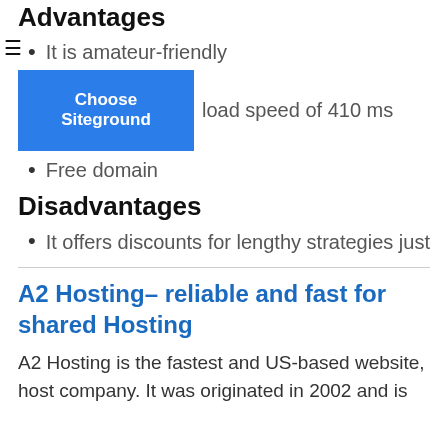Advantages
It is amateur-friendly
[Figure (other): Blue button labeled 'Choose Siteground' overlapping list item about load speed of 410 ms]
load speed of 410 ms
Free domain
Disadvantages
It offers discounts for lengthy strategies just
A2 Hosting– reliable and fast for shared Hosting
A2 Hosting is the fastest and US-based website, host company. It was originated in 2002 and is